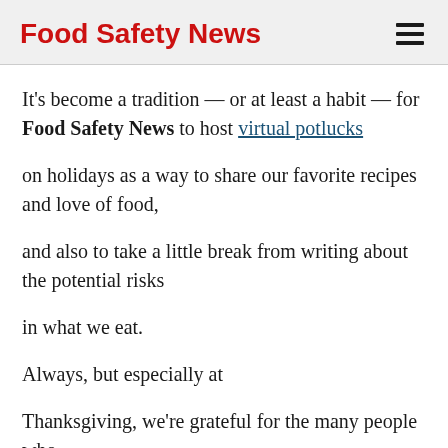Food Safety News
It’s become a tradition — or at least a habit — for Food Safety News to host virtual potlucks on holidays as a way to share our favorite recipes and love of food, and also to take a little break from writing about the potential risks in what we eat. Always, but especially at Thanksgiving, we’re grateful for the many people who